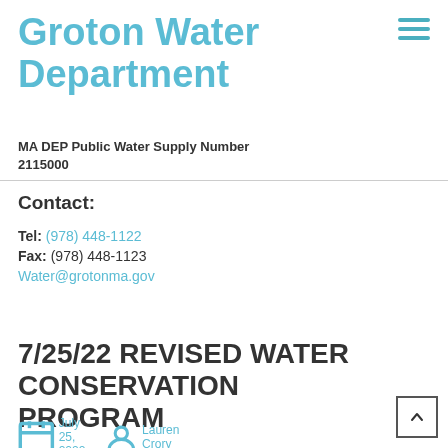Groton Water Department
MA DEP Public Water Supply Number 2115000
Contact:
Tel: (978) 448-1122
Fax: (978) 448-1123
Water@grotonma.gov
7/25/22 REVISED WATER CONSERVATION PROGRAM
July 25, 2022  Lauren Crory